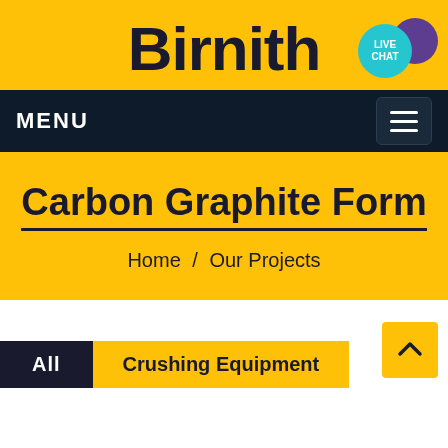Birnith
[Figure (other): Live Chat speech bubble icon with teal and purple circles]
MENU
Carbon Graphite Form
Home / Our Projects
All
Crushing Equipment